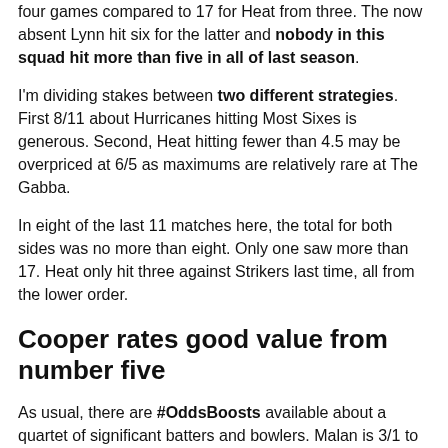four games compared to 17 for Heat from three. The now absent Lynn hit six for the latter and nobody in this squad hit more than five in all of last season.
I'm dividing stakes between two different strategies. First 8/11 about Hurricanes hitting Most Sixes is generous. Second, Heat hitting fewer than 4.5 may be overpriced at 6/5 as maximums are relatively rare at The Gabba.
In eight of the last 11 matches here, the total for both sides was no more than eight. Only one saw more than 17. Heat only hit three against Strikers last time, all from the lower order.
Cooper rates good value from number five
As usual, there are #OddsBoosts available about a quartet of significant batters and bowlers. Malan is 3/1 to topscore for Hobart, as is Bryant for Heat. The bowler options are James Faulkner and Mujeeb Ur Rahman, both at 7/2 to be Top Clear Wicket Taker.
Some notes for option in interest in Top Heat Renew...